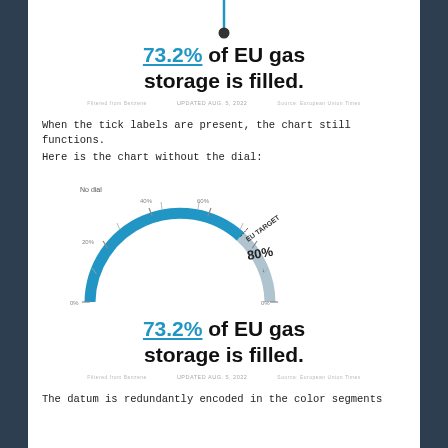[Figure (other): Partial gauge/speedometer chart showing EU gas storage fill at 73.2%, with needle pointing upward-left, blue arc and gray arc visible at top of page]
73.2% of EU gas storage is filled.
UPDATED AUG. 5, 2022
When the tick labels are present, the chart still functions.
Here is the chart without the dial:
[Figure (other): Gauge/speedometer chart labeled 'No dial' showing EU gas storage fill level, blue arc from left to about 73%, gray arc from ~73% to EU TARGET 80% marker on right, with tick marks and percentage labels around the arc. No needle/dial present.]
73.2% of EU gas storage is filled.
UPDATED AUG. 5, 2022
The datum is redundantly encoded in the color segments